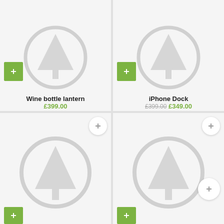[Figure (screenshot): Product card grid showing 4 items with placeholder tree/circle icons. Top-left: Wine bottle lantern £399.00. Top-right: iPhone Dock £399.00 sale £349.00. Bottom-left and bottom-right: unnamed products with placeholder images and green add-to-cart buttons.]
Wine bottle lantern
£399.00
iPhone Dock
£399.00 £349.00